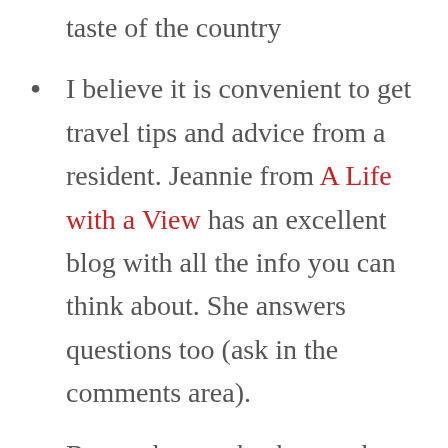taste of the country
I believe it is convenient to get travel tips and advice from a resident. Jeannie from A Life with a View has an excellent blog with all the info you can think about. She answers questions too (ask in the comments area).
Remember to check my other Iceland post: The Golden Circle Driving Self-Tour